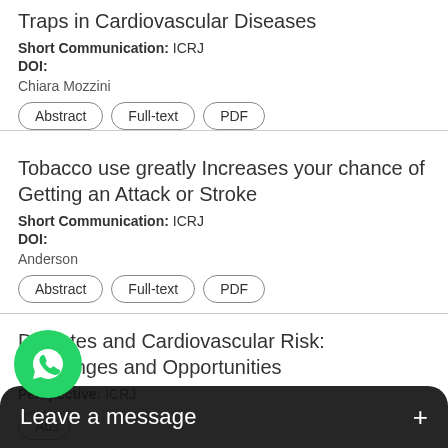Traps in Cardiovascular Diseases
Short Communication: ICRJ
DOI:
Chiara Mozzini
Tobacco use greatly Increases your chance of Getting an Attack or Stroke
Short Communication: ICRJ
DOI:
Anderson
Diabetes and Cardiovascular Risk: Challenges and Opportunities
Perspective: ICRJ
[Figure (screenshot): WhatsApp chat overlay with 'Leave a message' bar and green WhatsApp logo button]